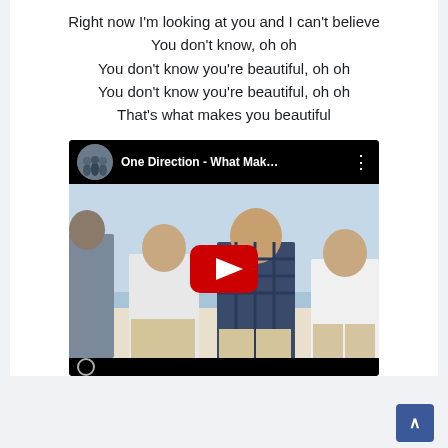Right now I'm looking at you and I can't believe
You don't know, oh oh
You don't know you're beautiful, oh oh
You don't know you're beautiful, oh oh
That's what makes you beautiful
[Figure (screenshot): YouTube embedded video player showing One Direction - What Mak... music video thumbnail with band members standing on a beach, with red play button overlay]